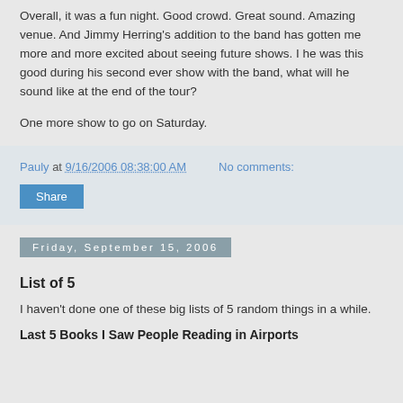Overall, it was a fun night. Good crowd. Great sound. Amazing venue. And Jimmy Herring's addition to the band has gotten me more and more excited about seeing future shows. I he was this good during his second ever show with the band, what will he sound like at the end of the tour?
One more show to go on Saturday.
Pauly at 9/16/2006 08:38:00 AM   No comments:
Share
Friday, September 15, 2006
List of 5
I haven't done one of these big lists of 5 random things in a while.
Last 5 Books I Saw People Reading in Airports